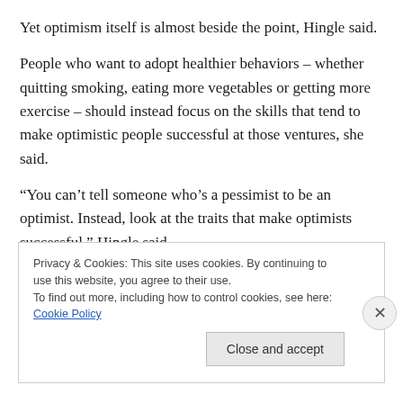Yet optimism itself is almost beside the point, Hingle said.
People who want to adopt healthier behaviors – whether quitting smoking, eating more vegetables or getting more exercise – should instead focus on the skills that tend to make optimistic people successful at those ventures, she said.
“You can’t tell someone who’s a pessimist to be an optimist. Instead, look at the traits that make optimists successful,” Hingle said.
Privacy & Cookies: This site uses cookies. By continuing to use this website, you agree to their use.
To find out more, including how to control cookies, see here: Cookie Policy